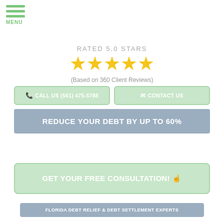[Figure (other): Hamburger menu icon with three green horizontal bars and MENU label]
RATED 5.0 STARS
[Figure (other): Five gold stars rating]
(Based on 360 Client Reviews)
CALL US (561) 475-5788
CONTACT US
REDUCE YOUR DEBT BY UP TO 60%
GET YOUR FREE CONSULTATION! 👆
FLORIDA DEBT RELIEF & DEBT SETTLEMENT EXPERTS